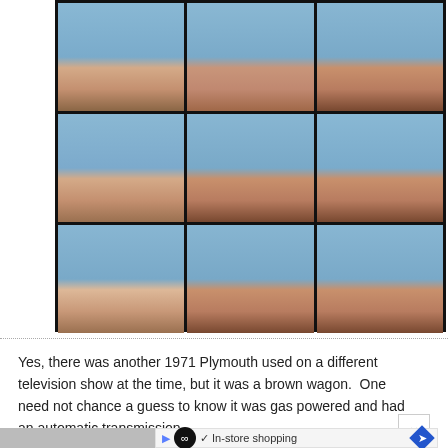[Figure (photo): A 3x3 grid of portrait photos showing the cast of The Brady Bunch TV show, with blue background. Top row: teenage girl with pigtails, woman with reddish-brown hair, teenage boy. Middle row: young blonde girl, man with dark hair, older boy. Bottom row: small blonde girl with red bows, man in suit, young boy in plaid shirt.]
Yes, there was another 1971 Plymouth used on a different television show at the time, but it was a brown wagon.  One need not chance a guess to know it was gas powered and had an automatic transmission.
[Figure (screenshot): Advertisement banner showing an infinity loop icon, play and X buttons, a checkmark with 'In-store shopping' text, and a blue diamond arrow icon.]